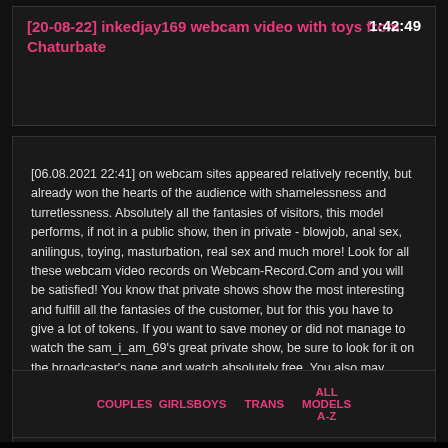[20-08-22] inkedjay169 webcam video with toys from Chaturbate  1:42:49
[06.08.2021 22:41] on webcam sites appeared relatively recently, but already won the hearts of the audience with shamelessness and turretlessness. Absolutely all the fantasies of visitors, this model performs, if not in a public show, then in private - blowjob, anal sex, anilingus, toying, masturbation, real sex and much more! Look for all these webcam video records on Webcam-Record.Com and you will be satisfied! You know that private shows show the most interesting and fulfill all the fantasies of the customer, but for this you have to give a lot of tokens. If you want to save money or did not manage to watch the sam_i_am_69's great private show, be sure to look for it on the broadcaster's page and watch absolutely free. You also may download webcam video recordings of particular interest to you on your device and review them at any convenient time.
COUPLES  GIRLSBOYS
TRANS
ALL MODELS A-Z
© 2017-2021 Webcam Records. All chaturbate video records. All models were at least 18 years of age at the time of depiction.